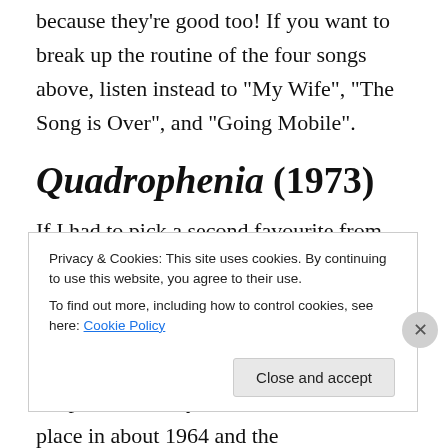because they're good too! If you want to break up the routine of the four songs above, listen instead to “My Wife”, “The Song is Over”, and “Going Mobile”.
Quadrophenia (1973)
If I had to pick a second favourite from The Who, this would be it. It’s the other double LP rock opera by the band and a lot of people will say this is the band at their best. First, I’ll give you a summary of the plot. The story of the album takes place in about 1964 and the
Privacy & Cookies: This site uses cookies. By continuing to use this website, you agree to their use.
To find out more, including how to control cookies, see here: Cookie Policy
Close and accept